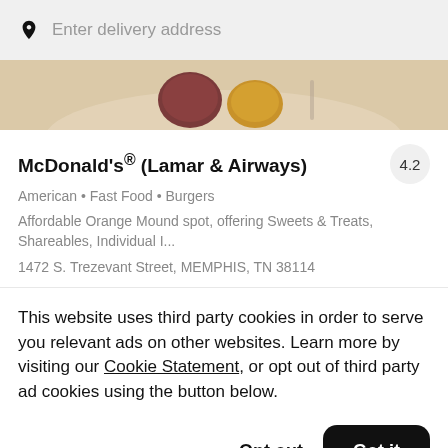Enter delivery address
[Figure (photo): Food items on a plate — partial view of desserts or appetizers on a beige/cream surface]
McDonald's® (Lamar & Airways)
4.2
American • Fast Food • Burgers
Affordable Orange Mound spot, offering Sweets & Treats, Shareables, Individual I...
1472 S. Trezevant Street, MEMPHIS, TN 38114
This website uses third party cookies in order to serve you relevant ads on other websites. Learn more by visiting our Cookie Statement, or opt out of third party ad cookies using the button below.
Opt out
Got it